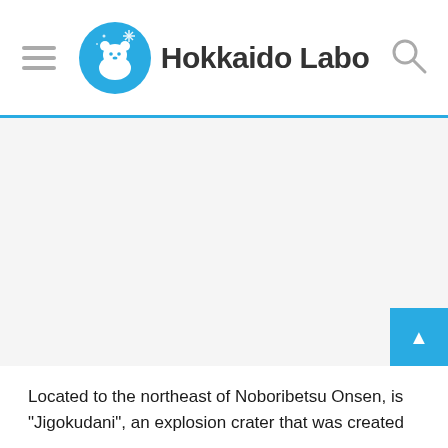Hokkaido Labo
[Figure (illustration): Large white/light grey rectangular image placeholder area representing a photo of Jigokudani, Noboribetsu]
Located to the northeast of Noboribetsu Onsen, is “Jigokudani”, an explosion crater that was created 10,000 years ago in the clue extent area of Noboribetsu